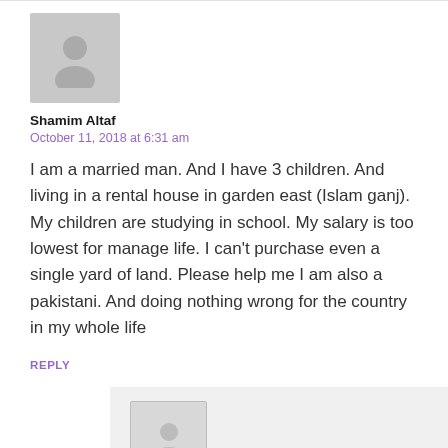[Figure (illustration): Default user avatar placeholder - grey silhouette of a person on grey background]
Shamim Altaf
October 11, 2018 at 6:31 am
I am a married man. And I have 3 children. And living in a rental house in garden east (Islam ganj). My children are studying in school. My salary is too lowest for manage life. I can't purchase even a single yard of land. Please help me I am also a pakistani. And doing nothing wrong for the country in my whole life
REPLY
[Figure (illustration): Default user avatar placeholder - grey silhouette of a person on light grey background, nested/indented comment]